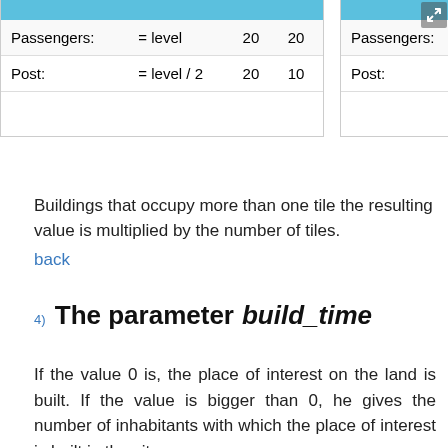|  |  |  |  |
| --- | --- | --- | --- |
| Passengers: | = level | 20 | 20 |
| Post: | = level / 2 | 20 | 10 |
|  |  |
| --- | --- |
| Passengers: | = level |
| Post: | = level |
Buildings that occupy more than one tile the resulting value is multiplied by the number of tiles.
back
4) The parameter build_time
If the value 0 is, the place of interest on the land is built. If the value is bigger than 0, he gives the number of inhabitants with which the place of interest is built in the city.